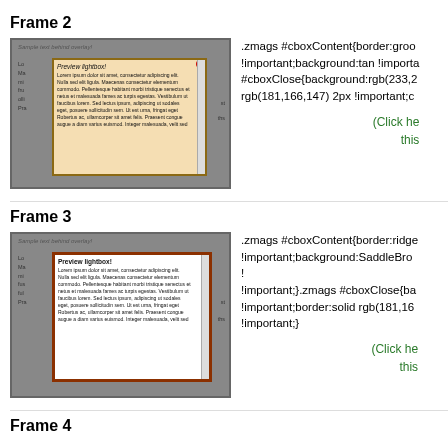Frame 2
[Figure (screenshot): Screenshot of a lightbox overlay (Frame 2) with tan/wheat background and gold border, showing lorem ipsum preview text]
.zmags #cboxContent{border:groo !important;background:tan !importa #cboxClose{background:rgb(233,2 rgb(181,166,147) 2px !important;c
(Click he this
Frame 3
[Figure (screenshot): Screenshot of a lightbox overlay (Frame 3) with white background and dark brown/SaddleBrown border, showing lorem ipsum preview text]
.zmags #cboxContent{border:ridge !important;background:SaddleBro !important;}.zmags #cboxClose{ba !important;border:solid rgb(181,16 !important;}
(Click he this
Frame 4